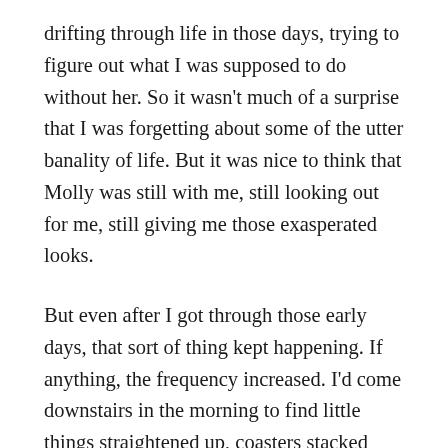drifting through life in those days, trying to figure out what I was supposed to do without her. So it wasn't much of a surprise that I was forgetting about some of the utter banality of life. But it was nice to think that Molly was still with me, still looking out for me, still giving me those exasperated looks.
But even after I got through those early days, that sort of thing kept happening. If anything, the frequency increased. I'd come downstairs in the morning to find little things straightened up, coasters stacked neatly on a corner of the table, things like that. Sometimes it would be bigger stuff: blankets folded, dishes washed and put away. I even started noticing snacks and junk food, the kind of stuff Molly always told me to cut back on,